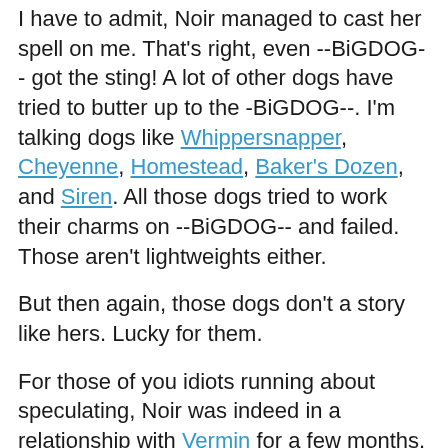I have to admit, Noir managed to cast her spell on me. That's right, even --BiGDOG-- got the sting! A lot of other dogs have tried to butter up to the -BiGDOG--. I'm talking dogs like Whippersnapper, Cheyenne, Homestead, Baker's Dozen, and Siren. All those dogs tried to work their charms on --BiGDOG-- and failed. Those aren't lightweights either.
But then again, those dogs don't a story like hers. Lucky for them.
For those of you idiots running about speculating, Noir was indeed in a relationship with Vermin for a few months. He's the one who knocked her up. When she tried to run off with the pups and escape Vermin, that sick son of a bitch had them killed. All but one, that is, which he is training to be his successor. I'm pretty sure Noir was even witness to the murder of Scrapper. Might be why she's been running from him.